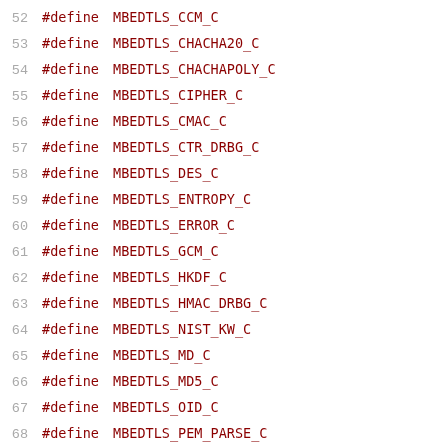52  #define MBEDTLS_CCM_C
53  #define MBEDTLS_CHACHA20_C
54  #define MBEDTLS_CHACHAPOLY_C
55  #define MBEDTLS_CIPHER_C
56  #define MBEDTLS_CMAC_C
57  #define MBEDTLS_CTR_DRBG_C
58  #define MBEDTLS_DES_C
59  #define MBEDTLS_ENTROPY_C
60  #define MBEDTLS_ERROR_C
61  #define MBEDTLS_GCM_C
62  #define MBEDTLS_HKDF_C
63  #define MBEDTLS_HMAC_DRBG_C
64  #define MBEDTLS_NIST_KW_C
65  #define MBEDTLS_MD_C
66  #define MBEDTLS_MD5_C
67  #define MBEDTLS_OID_C
68  #define MBEDTLS_PEM_PARSE_C
69  #define MBEDTLS_PEM_WRITE_C
70  #define MBEDTLS_PKCS5_C
71  #define MBEDTLS_PKCS12_C
72  #define MBEDTLS_PLATFORM_C